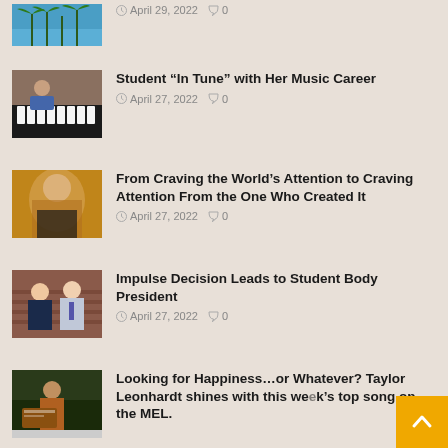[Figure (photo): Partial thumbnail of palm trees against blue sky at top of page]
April 29, 2022  0
[Figure (photo): Student sitting at a piano]
Student “In Tune” with Her Music Career
April 27, 2022  0
[Figure (photo): Blurred close-up portrait with warm brown background]
From Craving the World’s Attention to Craving Attention From the One Who Created It
April 27, 2022  0
[Figure (photo): Two students smiling in front of a brick wall]
Impulse Decision Leads to Student Body President
April 27, 2022  0
[Figure (photo): Person with album cover for Days of Heaven]
Looking for Happiness…or Whatever? Taylor Leonhardt shines with this week’s top song on the MEL.